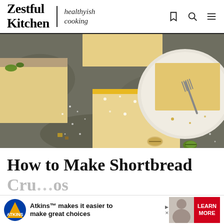Zestful Kitchen | healthyish cooking
[Figure (photo): Overhead flat-lay photograph of lemon or mango dessert bars dusted with powdered sugar on a dark stone surface, with a white ceramic plate holding a fork and a partially eaten bar, and scattered pistachios.]
How to Make Shortbread Cru...os
[Figure (other): Advertisement banner: Atkins logo with text 'Atkins™ makes it easier to make great choices', photo of smiling man, and red LEARN MORE button.]